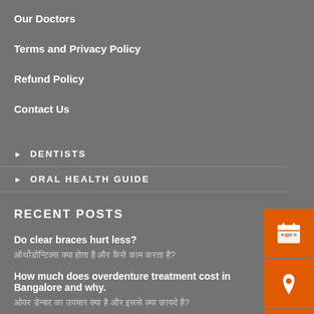Our Doctors
Terms and Privacy Policy
Refund Policy
Contact Us
DENTISTS
ORAL HEALTH GUIDE
RECENT POSTS
Do clear braces hurt less?
ऑर्थोडोन्टिक्स क्या होता है और कैसे काम करता है?
How much does overdenture treatment cost in Bangalore and why.
ओवर डेन्चर का उपचार क्या है और इससे क्या फ़ायदे है?
ओवरडेन्चर अनुचित डेन्चर का उत्तर?
[Figure (infographic): Orange sidebar icons: calendar/appointment, location pin, rupee coin]